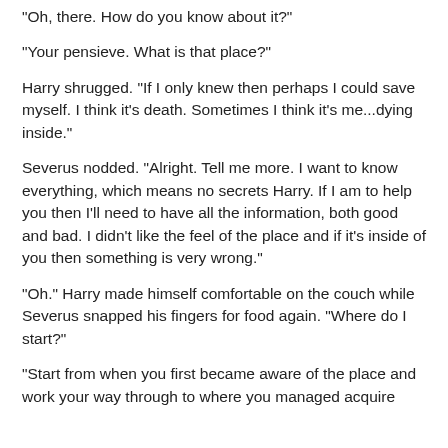"Oh, there. How do you know about it?"
"Your pensieve. What is that place?"
Harry shrugged. "If I only knew then perhaps I could save myself. I think it's death. Sometimes I think it's me...dying inside."
Severus nodded. "Alright. Tell me more. I want to know everything, which means no secrets Harry. If I am to help you then I'll need to have all the information, both good and bad. I didn't like the feel of the place and if it's inside of you then something is very wrong."
"Oh." Harry made himself comfortable on the couch while Severus snapped his fingers for food again. "Where do I start?"
"Start from when you first became aware of the place and work your way through to where you managed acquire